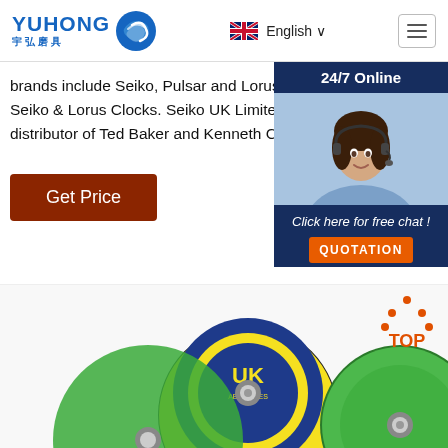[Figure (logo): YUHONG logo with Chinese characters 宇弘磨具 and blue wave icon]
English ∨
brands include Seiko, Pulsar and Lorus watches and Seiko & Lorus Clocks. Seiko UK Limited is the UK distributor of Ted Baker and Kenneth Cole Watches.
[Figure (photo): 24/7 Online chat widget with photo of smiling woman with headset, Click here for free chat!, QUOTATION button]
Get Price
[Figure (photo): Two abrasive grinding discs — one yellow/blue labeled UK, one green — with TOP button in corner]